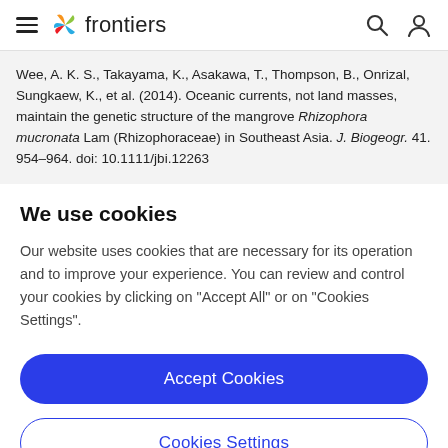frontiers
Wee, A. K. S., Takayama, K., Asakawa, T., Thompson, B., Onrizal, Sungkaew, K., et al. (2014). Oceanic currents, not land masses, maintain the genetic structure of the mangrove Rhizophora mucronata Lam (Rhizophoraceae) in Southeast Asia. J. Biogeogr. 41. 954–964. doi: 10.1111/jbi.12263
We use cookies
Our website uses cookies that are necessary for its operation and to improve your experience. You can review and control your cookies by clicking on "Accept All" or on "Cookies Settings".
Accept Cookies
Cookies Settings